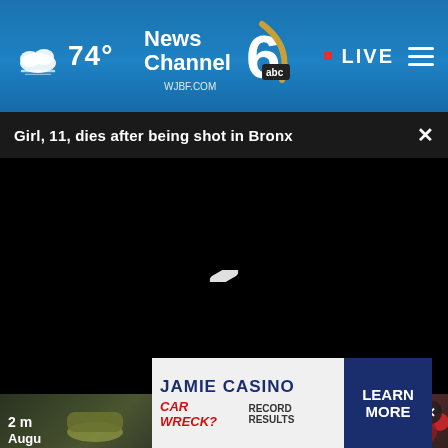74° News Channel 6 abc WJBF.COM · LIVE
Girl, 11, dies after being shot in Bronx
[Figure (screenshot): Black video player area with a loading spinner (white diagonal bar) centered on screen]
[Figure (screenshot): Two thumbnail images below video: left shows outdoor scene with text '2 m... Augu...', right shows food/nature with text 'South Carolina changing']
[Figure (infographic): Advertisement banner for Jamie Casino Car Wreck? Record Results with Learn More button]